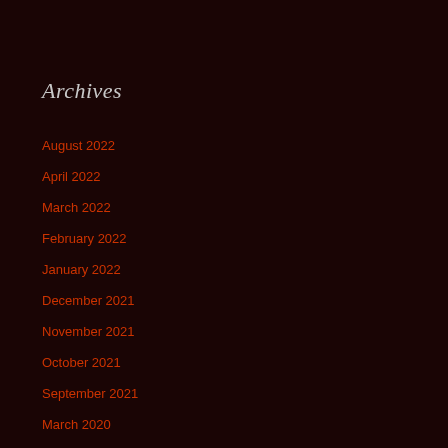Archives
August 2022
April 2022
March 2022
February 2022
January 2022
December 2021
November 2021
October 2021
September 2021
March 2020
February 2020